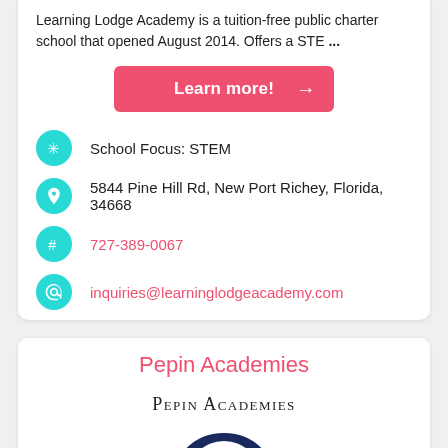Learning Lodge Academy is a tuition-free public charter school that opened August 2014. Offers a STE ...
Learn more! →
School Focus: STEM
5844 Pine Hill Rd, New Port Richey, Florida, 34668
727-389-0067
inquiries@learninglodgeacademy.com
Pepin Academies
[Figure (logo): Pepin Academies logo with small-caps text and circular bird emblem]